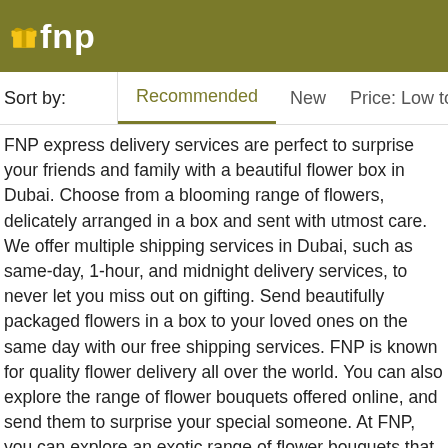fnp
Sort by: Recommended New Price: Low to High Pr…
FNP express delivery services are perfect to surprise your friends and family with a beautiful flower box in Dubai. Choose from a blooming range of flowers, delicately arranged in a box and sent with utmost care. We offer multiple shipping services in Dubai, such as same-day, 1-hour, and midnight delivery services, to never let you miss out on gifting. Send beautifully packaged flowers in a box to your loved ones on the same day with our free shipping services. FNP is known for quality flower delivery all over the world. You can also explore the range of flower bouquets offered online, and send them to surprise your special someone. At FNP, you can explore an exotic range of flower bouquets that you can send your loved ones. Celebrate an occasion or simply express your love with a bouquet of sunflowers delivered to your doorstep.
Get Beautiful Flower Boxes in Dubai